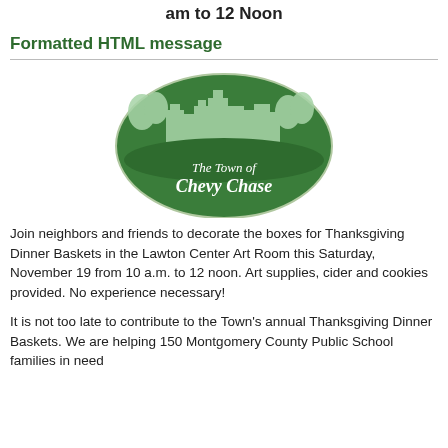am to 12 Noon
Formatted HTML message
[Figure (logo): Oval green logo with town silhouette and text 'The Town of Chevy Chase']
Join neighbors and friends to decorate the boxes for Thanksgiving Dinner Baskets in the Lawton Center Art Room this Saturday, November 19 from 10 a.m. to 12 noon.  Art supplies, cider and cookies provided.  No experience necessary!
It is not too late to contribute to the Town's annual Thanksgiving Dinner Baskets.  We are helping 150 Montgomery County Public School families in need